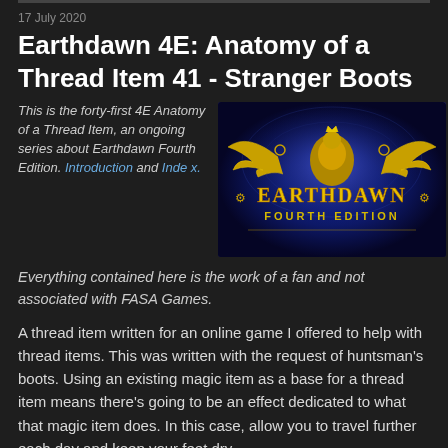17 July 2020
Earthdawn 4E: Anatomy of a Thread Item 41 - Stranger Boots
This is the forty-first 4E Anatomy of a Thread Item, an ongoing series about Earthdawn Fourth Edition. Introduction and Index.
[Figure (logo): Earthdawn Fourth Edition logo with golden eagle emblem on blue mystical background]
Everything contained here is the work of a fan and not associated with FASA Games.
A thread item written for an online game I offered to help with thread items. This was written with the request of huntsman's boots. Using an existing magic item as a base for a thread item means there's going to be an effect dedicated to what that magic item does. In this case, allow you to travel further each day and keep your feet dry.